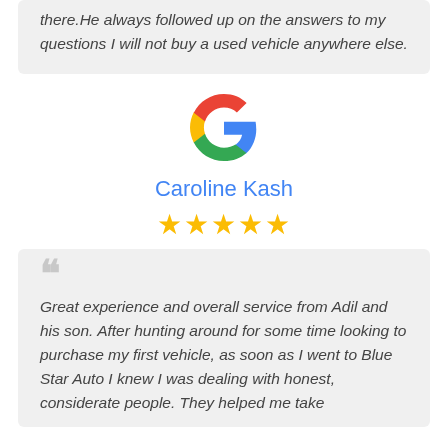there.He always followed up on the answers to my questions I will not buy a used vehicle anywhere else.
[Figure (logo): Google 'G' logo in red, yellow, green, and blue colors]
Caroline Kash
★★★★★ (5 stars)
Great experience and overall service from Adil and his son. After hunting around for some time looking to purchase my first vehicle, as soon as I went to Blue Star Auto I knew I was dealing with honest, considerate people. They helped me take